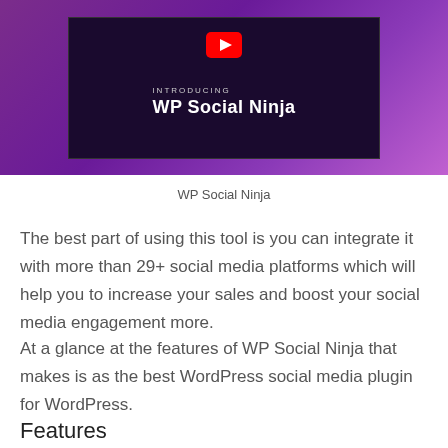[Figure (screenshot): Video thumbnail with purple background showing 'INTRODUCING WP Social Ninja' text with a YouTube play button icon.]
WP Social Ninja
The best part of using this tool is you can integrate it with more than 29+ social media platforms which will help you to increase your sales and boost your social media engagement more.
At a glance at the features of WP Social Ninja that makes is as the best WordPress social media plugin for WordPress.
Features